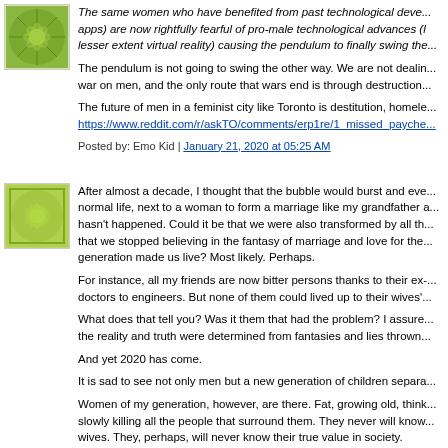[Figure (illustration): Green fractal/sunflower pattern avatar image, top comment]
The same women who have benefited from past technological developments (apps) are now rightfully fearful of pro-male technological advances (to a lesser extent virtual reality) causing the pendulum to finally swing the...
The pendulum is not going to swing the other way. We are not dealing with a war on men, and the only route that wars end is through destruction...
The future of men in a feminist city like Toronto is destitution, homele... https://www.reddit.com/r/askTO/comments/erp1re/1_missed_payche...
Posted by: Emo Kid | January 21, 2020 at 05:25 AM
[Figure (illustration): Green fractal/flower pattern avatar image, second comment]
After almost a decade, I thought that the bubble would burst and everyone would live a normal life, next to a woman to form a marriage like my grandfather and father. That hasn't happened. Could it be that we were also transformed by all the changes, in such a way that we stopped believing in the fantasy of marriage and love for the lifestyle the previous generation made us live? Most likely. Perhaps.
For instance, all my friends are now bitter persons thanks to their ex-wives, from doctors to engineers. But none of them could lived up to their wives'...
What does that tell you? Was it them that had the problem? I assure you, no. It is that the reality and truth were determined from fantasies and lies thrown...
And yet 2020 has come.
It is sad to see not only men but a new generation of children separa...
Women of my generation, however, are there. Fat, growing old, think... slowly killing all the people that surround them. They never will know... wives. They, perhaps, will never know their true value in society.
Personally, I think the bubble burst is in slow motion. The rate of ch...